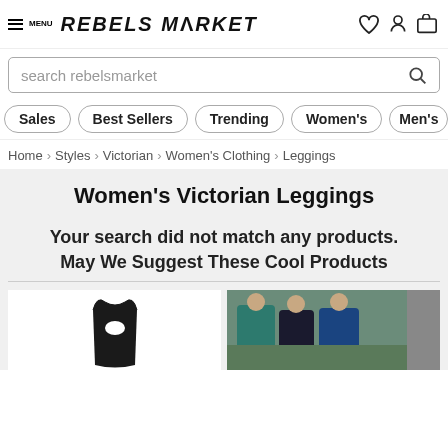MENU | REBELS MARKET [logo] [icons: wishlist, profile, cart]
search rebelsmarket
Sales
Best Sellers
Trending
Women's
Men's
Home > Styles > Victorian > Women's Clothing > Leggings
Women's Victorian Leggings
Your search did not match any products.
May We Suggest These Cool Products
[Figure (photo): Two product images: a black racerback sports bra/tank top on the left, and women in athletic jackets (teal and blue) on the right.]